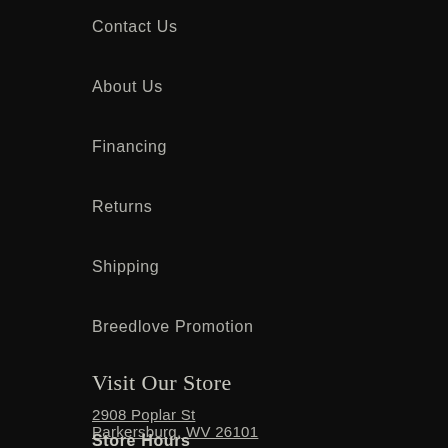Contact Us
About Us
Financing
Returns
Shipping
Breedlove Promotion
Visit Our Store
2908 Poplar St
Parkersburg, WV  26101
Store Hours